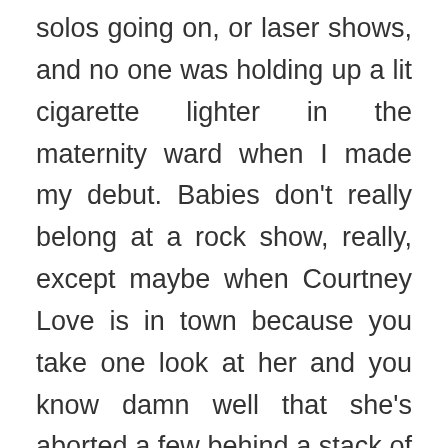solos going on, or laser shows, and no one was holding up a lit cigarette lighter in the maternity ward when I made my debut. Babies don't really belong at a rock show, really, except maybe when Courtney Love is in town because you take one look at her and you know damn well that she's aborted a few behind a stack of Marshalls with a syringe full of heroin and a Dustbuster. (I'm going to just go ahead and apologize for that line right now.)

Where was I? Oh, yeah. Rock music. The